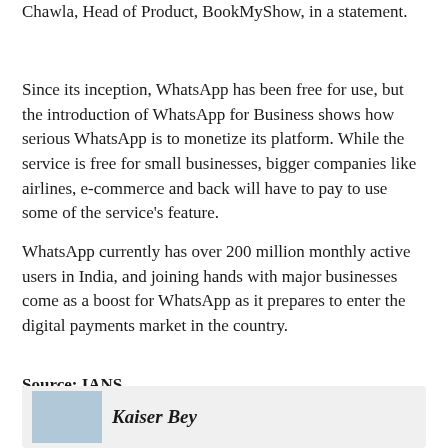Chawla, Head of Product, BookMyShow, in a statement.
Since its inception, WhatsApp has been free for use, but the introduction of WhatsApp for Business shows how serious WhatsApp is to monetize its platform. While the service is free for small businesses, bigger companies like airlines, e-commerce and back will have to pay to use some of the service's feature.
WhatsApp currently has over 200 million monthly active users in India, and joining hands with major businesses come as a boost for WhatsApp as it prepares to enter the digital payments market in the country.
Source: IANS
[Figure (other): Card preview with image thumbnail and italic bold title text 'Kaiser Bey']